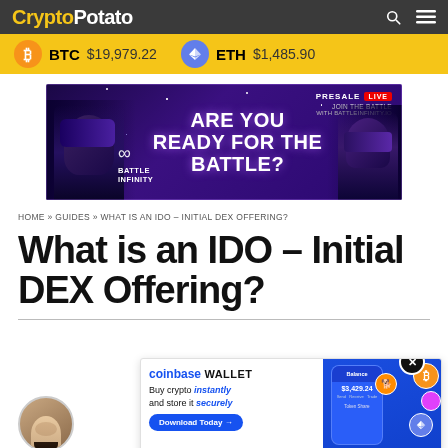CryptoPotato
BTC $19,979.22   ETH $1,485.90
[Figure (infographic): Battle Infinity presale live advertisement banner with purple cosmic background, VR headset character on left and armored robot on right. Text reads: PRESALE LIVE JOIN THE BATTLE WITH BATTLEINFINITY.IO - ARE YOU READY FOR THE BATTLE? BATTLE INFINITY]
HOME » GUIDES » WHAT IS AN IDO – INITIAL DEX OFFERING?
What is an IDO – Initial DEX Offering?
[Figure (screenshot): Coinbase Wallet advertisement: 'coinbase WALLET — Buy crypto instantly and store it securely — Download Today →' with crypto wallet UI showing $3,429.24 balance and crypto icons]